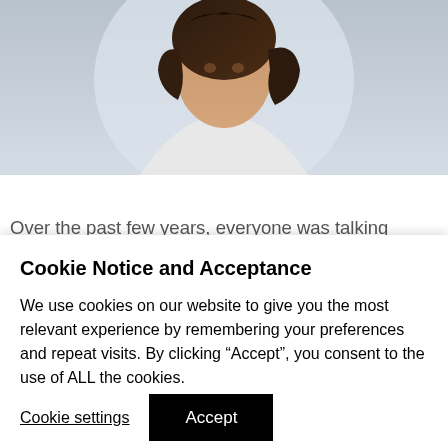[Figure (photo): Partial view of a woman with dark curly hair wearing a white top, photographed from roughly the shoulders up against a light background. The image is cropped at the top and bottom.]
Over the past few years, everyone was talking about all the great series that I should watch on multiple streaming services, yet I never found the time to watch any of them. I finally got to sit down and watch some Netflix specifically the guilty pleasure of Bridgerton
Cookie Notice and Acceptance
We use cookies on our website to give you the most relevant experience by remembering your preferences and repeat visits. By clicking “Accept”, you consent to the use of ALL the cookies.
Cookie settings
Accept